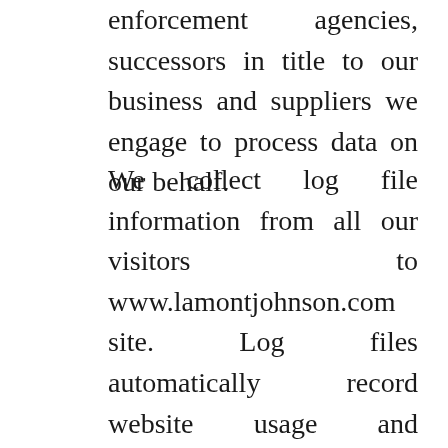enforcement agencies, successors in title to our business and suppliers we engage to process data on our behalf.
We collect log file information from all our visitors to www.lamontjohnson.com site. Log files automatically record website usage and information such as the time, date, IP address, HTTP status and bytes sent and received. We use this information to improve our online service and to make changes to the layout of the site and to the information on it, based on the way visitors move around it. We only use log files to record